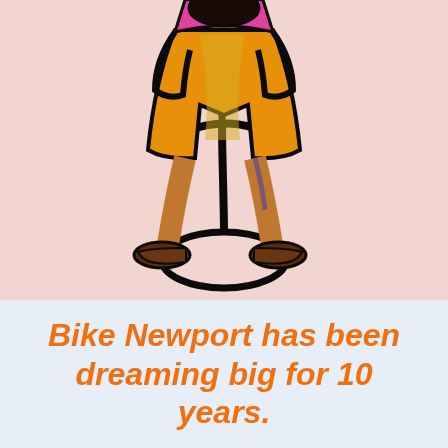[Figure (illustration): Child's drawing of a person straddling a bicycle, wearing orange/yellow shorts and a pink top, with brown shoes, on a light pink background.]
Bike Newport has been dreaming big for 10 years.